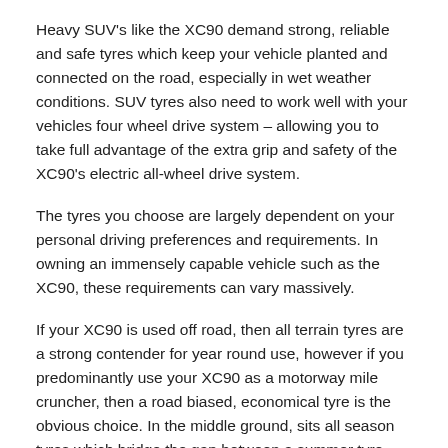Heavy SUV's like the XC90 demand strong, reliable and safe tyres which keep your vehicle planted and connected on the road, especially in wet weather conditions. SUV tyres also need to work well with your vehicles four wheel drive system – allowing you to take full advantage of the extra grip and safety of the XC90's electric all-wheel drive system.
The tyres you choose are largely dependent on your personal driving preferences and requirements. In owning an immensely capable vehicle such as the XC90, these requirements can vary massively.
If your XC90 is used off road, then all terrain tyres are a strong contender for year round use, however if you predominantly use your XC90 as a motorway mile cruncher, then a road biased, economical tyre is the obvious choice. In the middle ground, sits all season tyres which bridge the gap between a summer tyre and a winter tyre.
Regardless of the type of driving you do, during the colder